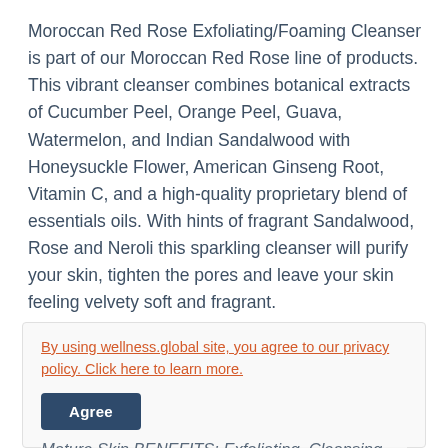Moroccan Red Rose Exfoliating/Foaming Cleanser is part of our Moroccan Red Rose line of products. This vibrant cleanser combines botanical extracts of Cucumber Peel, Orange Peel, Guava, Watermelon, and Indian Sandalwood with Honeysuckle Flower, American Ginseng Root, Vitamin C, and a high-quality proprietary blend of essentials oils. With hints of fragrant Sandalwood, Rose and Neroli this sparkling cleanser will purify your skin, tighten the pores and leave your skin feeling velvety soft and fragrant.
By using wellness.global site, you agree to our privacy policy. Click here to learn more.
Agree
Mature Skin BENEFITS: Exfoliating, Cleansing,